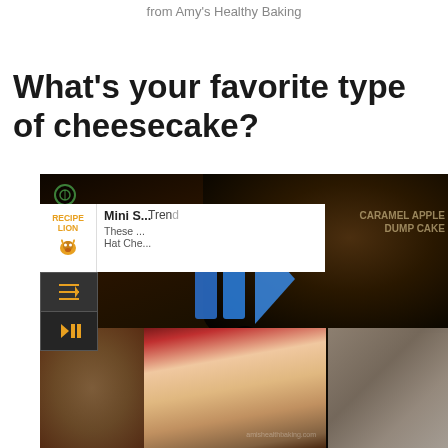from Amy's Healthy Baking
What's your favorite type of cheesecake?
[Figure (screenshot): Video overlay showing caramel apple dump cake recipe video with play button and mute button, overlaying a recipe card for Mini Santa Hat Cheesecakes from Recipe Lion, and photos of mini cheesecakes]
Trending
Mini S... These ... Hat Che...